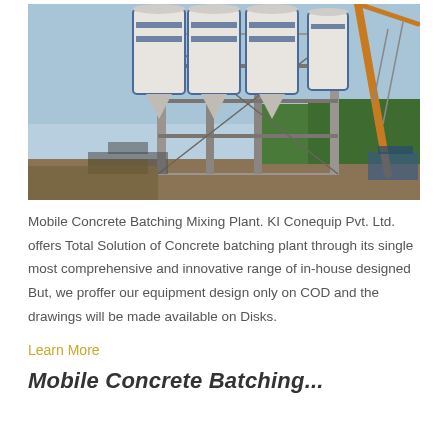[Figure (photo): Outdoor photo of a Mobile Concrete Batching Mixing Plant with large cylindrical silos, a steel frame structure, and a crane visible on the right, with trees and blue sky in the background.]
Mobile Concrete Batching Mixing Plant. KI Conequip Pvt. Ltd. offers Total Solution of Concrete batching plant through its single most comprehensive and innovative range of in-house designed But, we proffer our equipment design only on COD and the drawings will be made available on Disks.
Learn More
Mobile Concrete Batching...